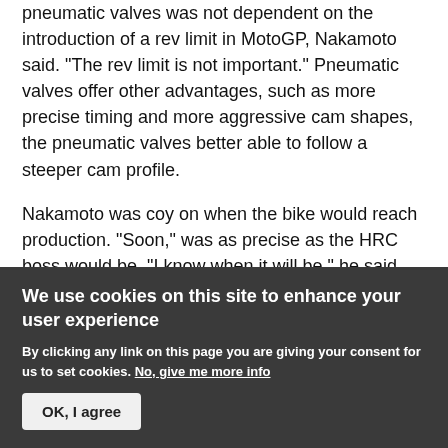pneumatic valves was not dependent on the introduction of a rev limit in MotoGP, Nakamoto said. "The rev limit is not important." Pneumatic valves offer other advantages, such as more precise timing and more aggressive cam shapes, the pneumatic valves better able to follow a steeper cam profile.
Nakamoto was coy on when the bike would reach production. "Soon," was as precise as the HRC boss would be. "I know when it will be," he said, but he would not be drawn any further than saying "soon".
The production of a Honda RC213V replica CRT machine is a game changer for the CRT project. The
We use cookies on this site to enhance your user experience
By clicking any link on this page you are giving your consent for us to set cookies. No, give me more info
OK, I agree